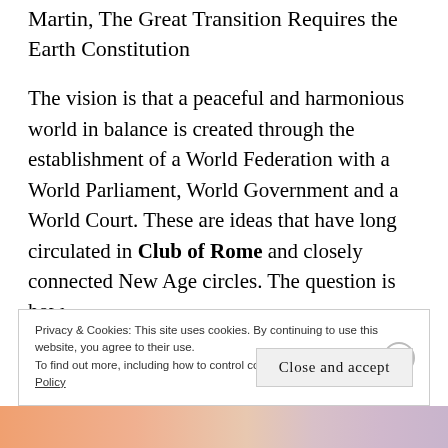Martin, The Great Transition Requires the Earth Constitution
The vision is that a peaceful and harmonious world in balance is created through the establishment of a World Federation with a World Parliament, World Government and a World Court. These are ideas that have long circulated in Club of Rome and closely connected New Age circles. The question is how
Privacy & Cookies: This site uses cookies. By continuing to use this website, you agree to their use.
To find out more, including how to control cookies, see here: Cookie Policy